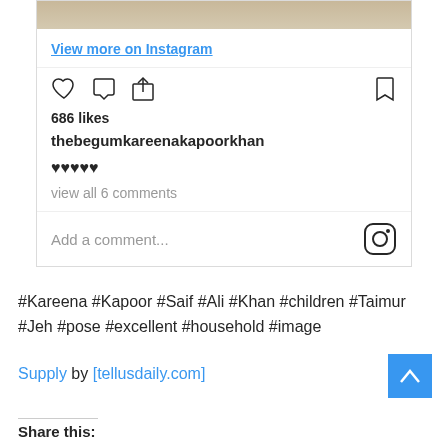[Figure (screenshot): Instagram post interface showing photo strip at top, View more on Instagram link, action bar with heart/comment/share icons and bookmark icon, 686 likes, username thebegumkareenakapoorkhan, five heart emoji caption, view all 6 comments, Add a comment input with Instagram logo]
#Kareena #Kapoor #Saif #Ali #Khan #children #Taimur #Jeh #pose #excellent #household #image
Supply by [tellusdaily.com]
Share this: